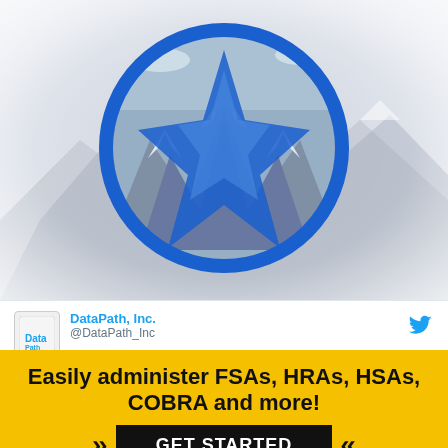[Figure (illustration): Mountain landscape with snow-capped peaks and a large circular logo overlay featuring a blue star/lightning bolt shape. The circle has a thick blue ring border and the mountain scene is visible through it. Background fades to grey/white at edges.]
DataPath, Inc.
@DataPath_Inc
What's your favorite communications tool to educate
X
Easily administer FSAs, HRAs, HSAs, COBRA and more!
GET STARTED